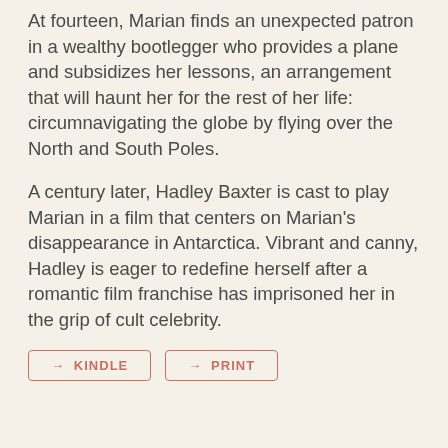At fourteen, Marian finds an unexpected patron in a wealthy bootlegger who provides a plane and subsidizes her lessons, an arrangement that will haunt her for the rest of her life: circumnavigating the globe by flying over the North and South Poles.
A century later, Hadley Baxter is cast to play Marian in a film that centers on Marian's disappearance in Antarctica. Vibrant and canny, Hadley is eager to redefine herself after a romantic film franchise has imprisoned her in the grip of cult celebrity.
→ KINDLE
→ PRINT